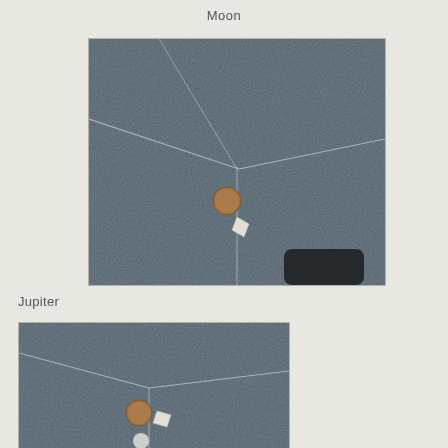Moon
[Figure (photo): Photo of a textured dark granite/stone floor with a coin (brown/copper) and a small white piece of paper/object placed as scale references, with a person's shadow visible at the bottom. Lines/cracks are visible across the stone surface.]
Jupiter
[Figure (photo): Photo of similar textured dark granite/stone floor with a coin (brown/copper) and a small white piece placed as scale references, partially cropped at the bottom of the page.]